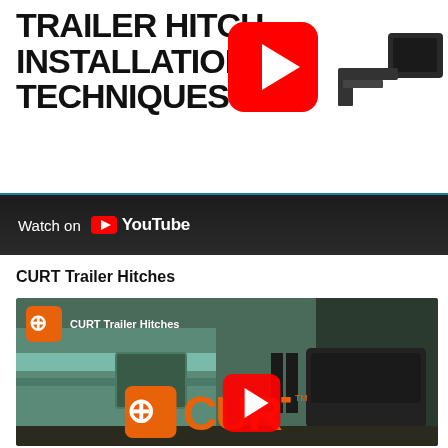[Figure (screenshot): YouTube video thumbnail showing 'TRAILER HITCH INSTALLATION TECHNIQUES' title in bold black text on white background, with a YouTube play button overlay and a trailer hitch image at top right]
Watch on YouTube
CURT Trailer Hitches
[Figure (screenshot): YouTube video thumbnail for CURT Trailer Hitches channel showing a camper trailer, SUV, and trees in background with large CURT orange branding logo and YouTube play button overlay]